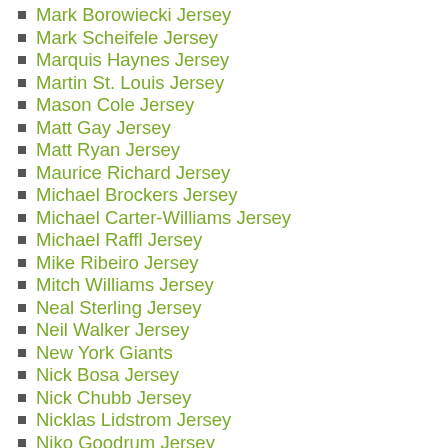Mark Borowiecki Jersey
Mark Scheifele Jersey
Marquis Haynes Jersey
Martin St. Louis Jersey
Mason Cole Jersey
Matt Gay Jersey
Matt Ryan Jersey
Maurice Richard Jersey
Michael Brockers Jersey
Michael Carter-Williams Jersey
Michael Raffl Jersey
Mike Ribeiro Jersey
Mitch Williams Jersey
Neal Sterling Jersey
Neil Walker Jersey
New York Giants
Nick Bosa Jersey
Nick Chubb Jersey
Nicklas Lidstrom Jersey
Niko Goodrum Jersey